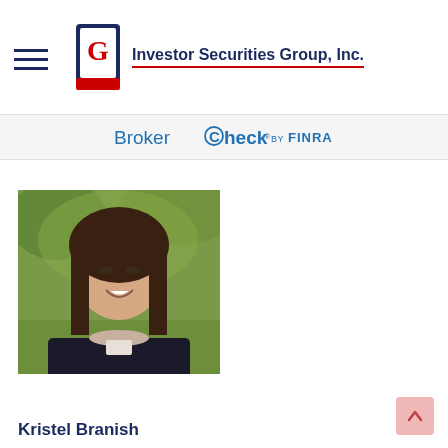Investor Securities Group, Inc.
[Figure (logo): BrokerCheck by FINRA logo on a light gray bar]
[Figure (photo): Professional headshot of Kristel Branish, a woman with long dark brown hair wearing a dark blazer, photographed outdoors with green foliage background]
Kristel Branish